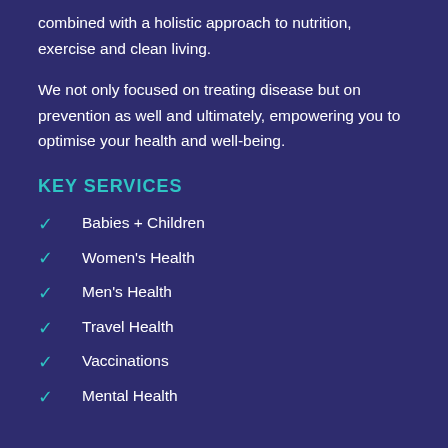combined with a holistic approach to nutrition, exercise and clean living.
We not only focused on treating disease but on prevention as well and ultimately, empowering you to optimise your health and well-being.
KEY SERVICES
Babies + Children
Women's Health
Men's Health
Travel Health
Vaccinations
Mental Health